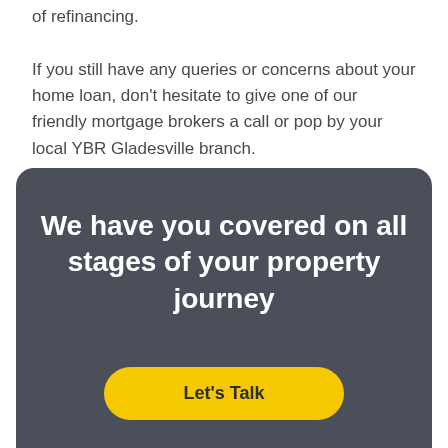of refinancing. If you still have any queries or concerns about your home loan, don't hesitate to give one of our friendly mortgage brokers a call or pop by your local YBR Gladesville branch.
We have you covered on all stages of your property journey
Let's Talk